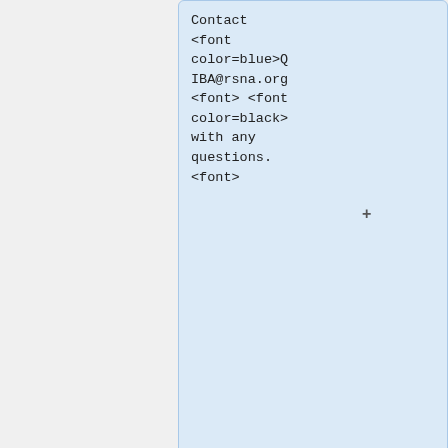Contact <font color=blue>QIBA@rsna.org <font> <font color=black> with any questions. <font>
== QIBA Quarterly Biomarker Committee Updates ==
QIBA Biomarker